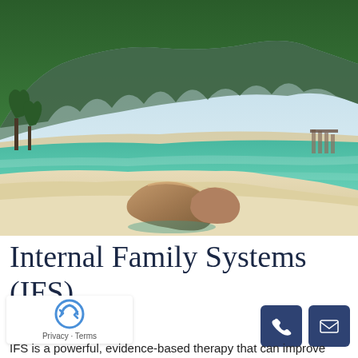[Figure (photo): Tropical beach scene with turquoise water, white sandy beach, large brown rocks in the shallow water, and lush green forested hills in the background under a partly cloudy sky.]
Internal Family Systems (IFS)
IFS is a powerful, evidence-based therapy that can improve